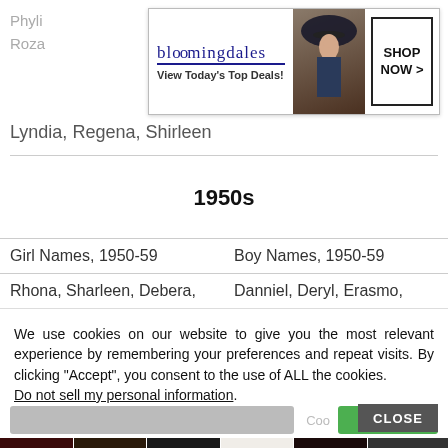Phyli... pio, Roza...
[Figure (other): Bloomingdale's advertisement banner: logo, 'View Today's Top Deals!', woman in hat image, SHOP NOW button]
Lyndia, Regena, Shirleen
1950s
| Girl Names, 1950-59 | Boy Names, 1950-59 |
| --- | --- |
| Rhona, Sharleen, Debera, | Danniel, Deryl, Erasmo, |
We use cookies on our website to give you the most relevant experience by remembering your preferences and repeat visits. By clicking “Accept”, you consent to the use of ALL the cookies.
Do not sell my personal information.
[Figure (other): ULTA Beauty advertisement banner with makeup images and SHOP NOW button, CLOSE button overlay]